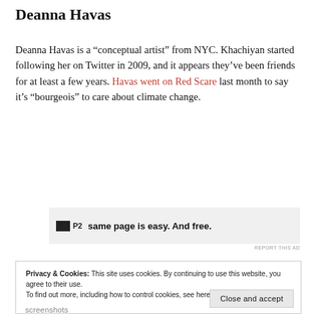Deanna Havas
Deanna Havas is a “conceptual artist” from NYC. Khachiyan started following her on Twitter in 2009, and it appears they’ve been friends for at least a few years. Havas went on Red Scare last month to say it’s “bourgeois” to care about climate change.
[Figure (screenshot): Advertisement banner with P2 logo icon and text: same page is easy. And free.]
REPORT THIS AD
Privacy & Cookies: This site uses cookies. By continuing to use this website, you agree to their use. To find out more, including how to control cookies, see here: Cookie Policy
Close and accept
screenshots